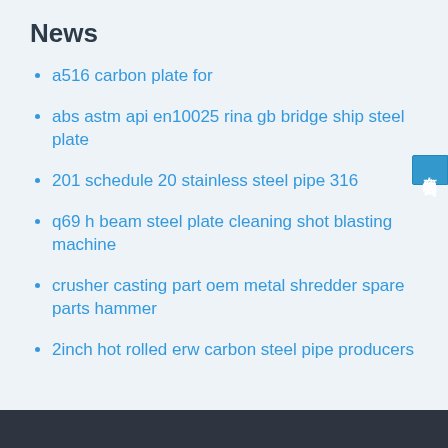News
a516 carbon plate for
abs astm api en10025 rina gb bridge ship steel plate
201 schedule 20 stainless steel pipe 316
q69 h beam steel plate cleaning shot blasting machine
crusher casting part oem metal shredder spare parts hammer
2inch hot rolled erw carbon steel pipe producers